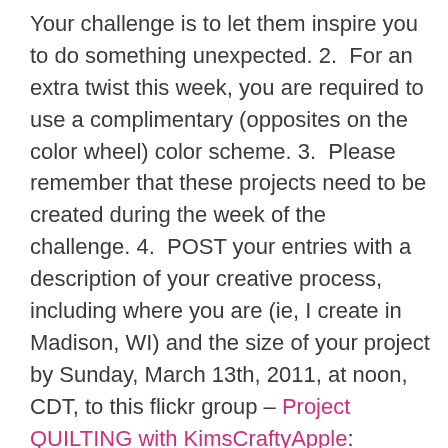Your challenge is to let them inspire you to do something unexpected. 2.  For an extra twist this week, you are required to use a complimentary (opposites on the color wheel) color scheme. 3.  Please remember that these projects need to be created during the week of the challenge. 4.  POST your entries with a description of your creative process, including where you are (ie, I create in Madison, WI) and the size of your project by Sunday, March 13th, 2011, at noon, CDT, to this flickr group – Project QUILTING with KimsCraftyApple: http://www.flickr.com/groups/1401824@N21/ OR email a picture/description of your completed project to lapaceksorchard@gmail.com with PROJECT QUILTING in the subject line. 5. If this is